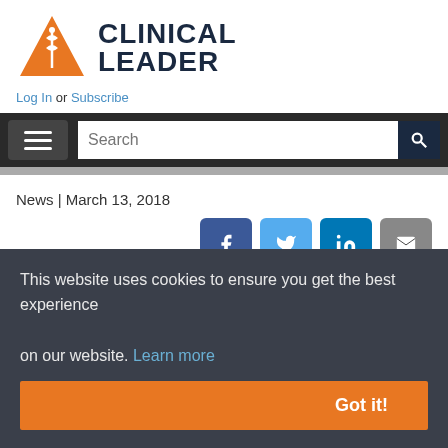[Figure (logo): Clinical Leader logo: orange triangle with medical symbol and bold dark text 'CLINICAL LEADER']
Log In or Subscribe
[Figure (screenshot): Navigation bar with hamburger menu and search box]
News | March 13, 2018
[Figure (infographic): Social share buttons: Facebook, Twitter, LinkedIn, Email]
Majority Of Clinical Trials Planned
This website uses cookies to ensure you get the best experience on our website. Learn more
Got it!